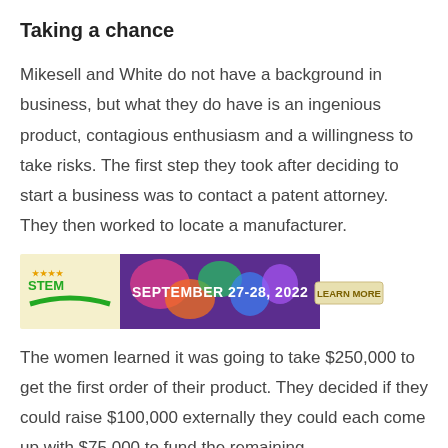Taking a chance
Mikesell and White do not have a background in business, but what they do have is an ingenious product, contagious enthusiasm and a willingness to take risks. The first step they took after deciding to start a business was to contact a patent attorney. They then worked to locate a manufacturer.
[Figure (screenshot): Advertisement banner for STEM event: SEPTEMBER 27-28, 2022 with a LEARN MORE button, featuring colorful STEM-related imagery and a logo.]
The women learned it was going to take $250,000 to get the first order of their product. They decided if they could raise $100,000 externally they could each come up with $75,000 to fund the remaining